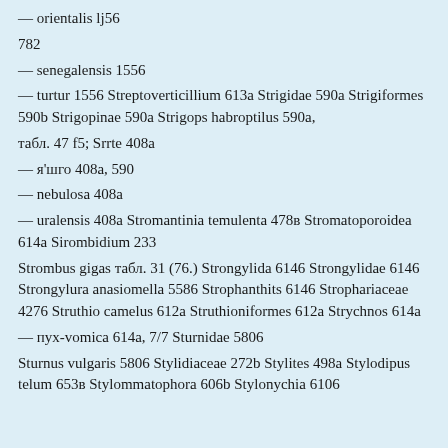— orientalis lj56
782
— senegalensis 1556
— turtur 1556 Streptoverticillium 613a Strigidae 590a Strigiformes 590b Strigopinae 590a Strigops habroptilus 590a,
табл. 47 f5; Srrte 408a
— я'шго 408a, 590
— nebulosa 408a
— uralensis 408a Stromantinia temulenta 478в Stromatoporoidea 614a Sirombidium 233
Strombus gigas табл. 31 (76.) Strongylida 6146 Strongylidae 6146 Strongylura anasiomella 5586 Strophanthits 6146 Strophariaceae 4276 Struthio camelus 612a Struthioniformes 612a Strychnos 614a
— пух-vomica 614a, 7/7 Sturnidae 5806
Sturnus vulgaris 5806 Stylidiaceae 272b Stylites 498a Stylodipus telum 653в Stylommatophora 606b Stylonychia 6106